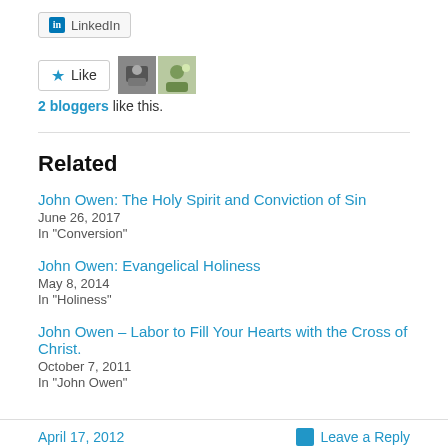[Figure (other): LinkedIn share button with LinkedIn logo icon]
[Figure (other): Like button with star icon and two blogger avatar thumbnails]
2 bloggers like this.
Related
John Owen: The Holy Spirit and Conviction of Sin
June 26, 2017
In "Conversion"
John Owen: Evangelical Holiness
May 8, 2014
In "Holiness"
John Owen – Labor to Fill Your Hearts with the Cross of Christ.
October 7, 2011
In "John Owen"
April 17, 2012    Leave a Reply